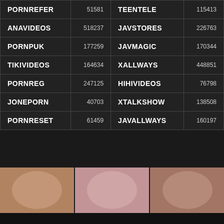| Site | Number | Site | Number |
| --- | --- | --- | --- |
| PORNREFER | 51581 | TEENTELE | 115413 |
| ANAVIDEOS | 518237 | JAVSTORES | 226763 |
| PORNPUK | 177259 | JAVMAGIC | 170344 |
| TIKIVIDEOS | 164634 | XALLWAYS | 448851 |
| PORNREG | 247125 | HIHIVIDEOS | 76798 |
| JONEPORN | 40703 | XTALKSHOW | 138508 |
| PORNRESET | 61459 | JAVALLWAYS | 160197 |
[Figure (photo): Three thumbnail images of adult content arranged in a horizontal strip]